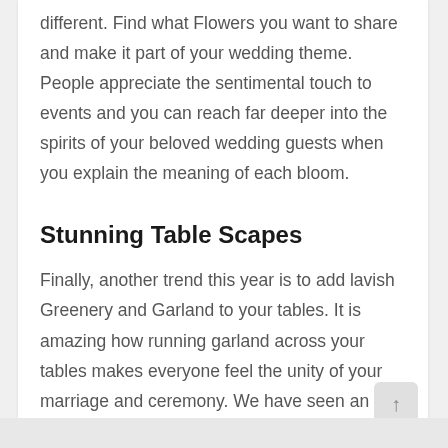different. Find what Flowers you want to share and make it part of your wedding theme. People appreciate the sentimental touch to events and you can reach far deeper into the spirits of your beloved wedding guests when you explain the meaning of each bloom.
Stunning Table Scapes
Finally, another trend this year is to add lavish Greenery and Garland to your tables. It is amazing how running garland across your tables makes everyone feel the unity of your marriage and ceremony. We have seen an increase in sales this year with the Greens and see that many couples are adding more and more of it to their reception tables.